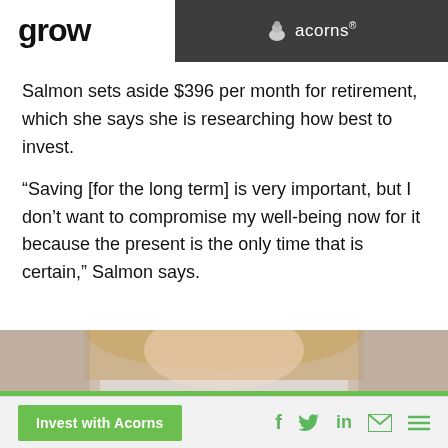grow / acorns®
Salmon sets aside $396 per month for retirement, which she says she is researching how best to invest.
“Saving [for the long term] is very important, but I don’t want to compromise my well-being now for it because the present is the only time that is certain,” Salmon says.
[Figure (photo): A blonde woman looking down at documents, reading.]
Invest with Acorns   [social icons: f, Twitter bird, in, mail, menu]